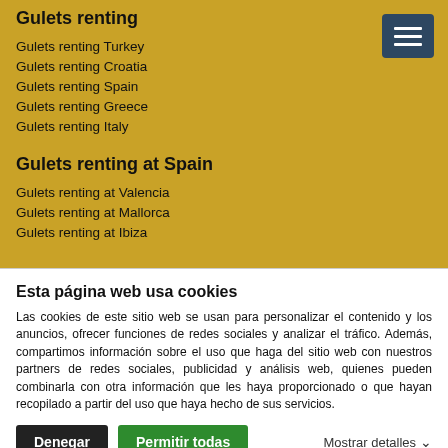Gulets renting
Gulets renting Turkey
Gulets renting Croatia
Gulets renting Spain
Gulets renting Greece
Gulets renting Italy
Gulets renting at Spain
Gulets renting at Valencia
Gulets renting at Mallorca
Gulets renting at Ibiza
Esta página web usa cookies
Las cookies de este sitio web se usan para personalizar el contenido y los anuncios, ofrecer funciones de redes sociales y analizar el tráfico. Además, compartimos información sobre el uso que haga del sitio web con nuestros partners de redes sociales, publicidad y análisis web, quienes pueden combinarla con otra información que les haya proporcionado o que hayan recopilado a partir del uso que haya hecho de sus servicios.
Denegar
Permitir todas
Mostrar detalles